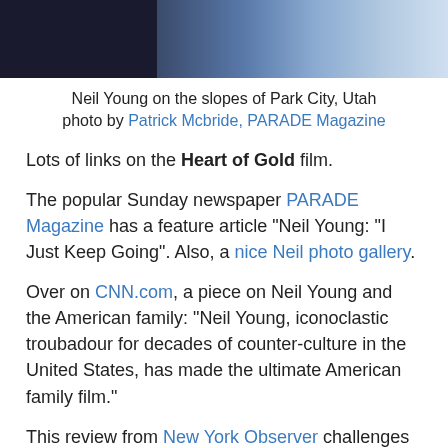[Figure (photo): Partial photo of Neil Young on the slopes of Park City, Utah — dark and light blue tones, cropped at the top]
Neil Young on the slopes of Park City, Utah
photo by Patrick Mcbride, PARADE Magazine
Lots of links on the Heart of Gold film.
The popular Sunday newspaper PARADE Magazine has a feature article "Neil Young: "I Just Keep Going". Also, a nice Neil photo gallery.
Over on CNN.com, a piece on Neil Young and the American family: "Neil Young, iconoclastic troubadour for decades of counter-culture in the United States, has made the ultimate American family film."
This review from New York Observer challenges the above assumption on family values. The review by Ron Rosenbaum is rather dense and heavy on analysis: